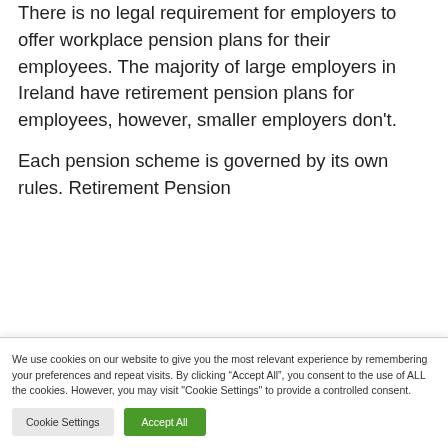There is no legal requirement for employers to offer workplace pension plans for their employees. The majority of large employers in Ireland have retirement pension plans for employees, however, smaller employers don't.

Each pension scheme is governed by its own rules. Retirement Pension…
We use cookies on our website to give you the most relevant experience by remembering your preferences and repeat visits. By clicking "Accept All", you consent to the use of ALL the cookies. However, you may visit "Cookie Settings" to provide a controlled consent.